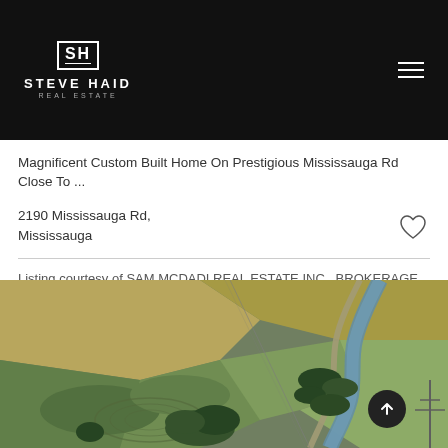STEVE HAID REAL ESTATE
Magnificent Custom Built Home On Prestigious Mississauga Rd Close To ...
2190 Mississauga Rd, Mississauga
Listing courtesy of SAM MCDADI REAL ESTATE INC., BROKERAGE.
[Figure (photo): Aerial drone photo of open farmland and fields with a winding river on the right side, trees clustered in the middle ground, a road running alongside the river, and power lines visible. Rolling green and golden fields with circular tractor marks are visible.]